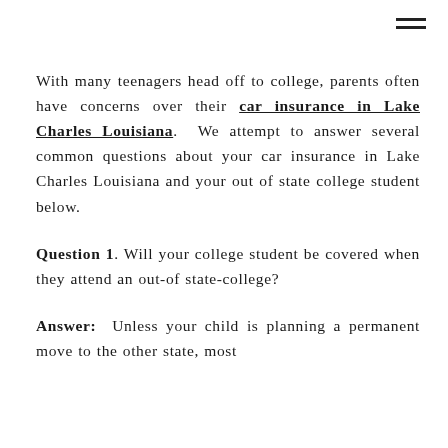[Figure (other): Hamburger menu icon (three horizontal lines) in top-right corner]
With many teenagers head off to college, parents often have concerns over their car insurance in Lake Charles Louisiana. We attempt to answer several common questions about your car insurance in Lake Charles Louisiana and your out of state college student below.
Question 1. Will your college student be covered when they attend an out-of state-college?
Answer: Unless your child is planning a permanent move to the other state, most